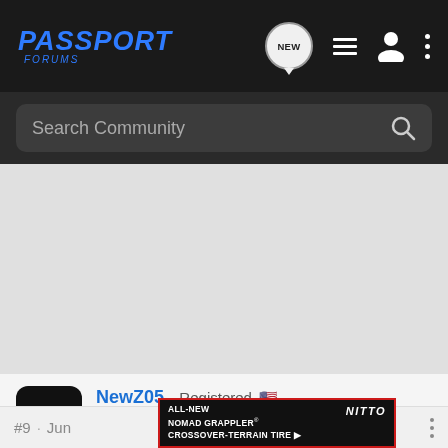PASSPORT FORUMS
Search Community
[Figure (screenshot): Grey advertisement/content area in the middle of the page]
NewZ05 · Registered
'20 Passport EX-L AWD (Modern Steel/Black)
Joined Mar 18, 2020 · 27 Posts
#9 · Jun
[Figure (other): Nitto tire advertisement banner: ALL-NEW NOMAD GRAPPLER CROSSOVER-TERRAIN TIRE with tire image and NITTO branding]